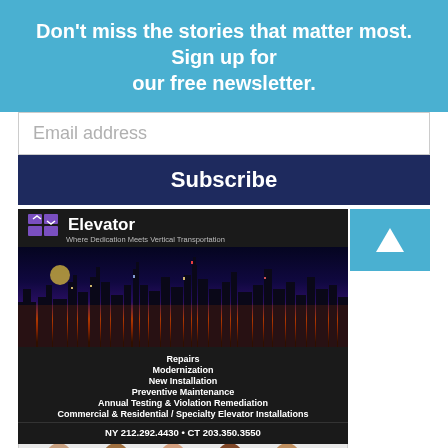Don't miss the stories that matter most. Sign up for our free newsletter.
Email address
Subscribe
[Figure (advertisement): Elevator company advertisement with NYC skyline at night, listing services: Repairs, Modernization, New Installation, Preventive Maintenance, Annual Testing & Violation Remediation, Commercial & Residential / Specialty Elevator Installations. Phone: NY 212.292.4430 • CT 203.350.3550]
[Figure (advertisement): You Can Do Better Than a Bank - credit union advertisement with group of diverse people]